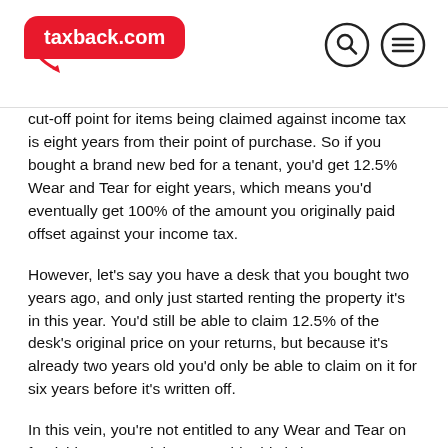taxback.com
cut-off point for items being claimed against income tax is eight years from their point of purchase. So if you bought a brand new bed for a tenant, you'd get 12.5% Wear and Tear for eight years, which means you'd eventually get 100% of the amount you originally paid offset against your income tax.
However, let's say you have a desk that you bought two years ago, and only just started renting the property it's in this year. You'd still be able to claim 12.5% of the desk's original price on your returns, but because it's already two years old you'd only be able to claim on it for six years before it's written off.
In this vein, you're not entitled to any Wear and Tear on furnishings over eight years old. This is just common sense - if you've had them for that long, they're probably